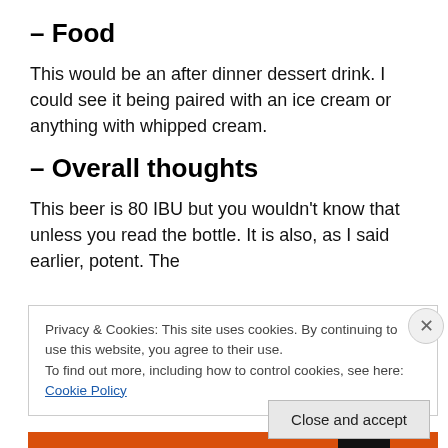– Food
This would be an after dinner dessert drink. I could see it being paired with an ice cream or anything with whipped cream.
– Overall thoughts
This beer is 80 IBU but you wouldn't know that unless you read the bottle. It is also, as I said earlier, potent. The
Privacy & Cookies: This site uses cookies. By continuing to use this website, you agree to their use.
To find out more, including how to control cookies, see here: Cookie Policy